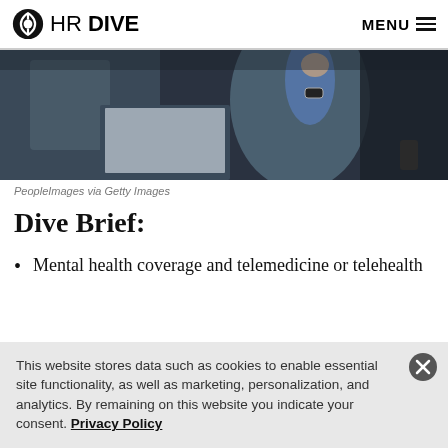HR DIVE | MENU
[Figure (photo): Person sitting at a desk working on a laptop in a dark office environment, wearing a blue shirt and watch, seen from behind/side angle]
PeopleImages via Getty Images
Dive Brief:
Mental health coverage and telemedicine or telehealth
This website stores data such as cookies to enable essential site functionality, as well as marketing, personalization, and analytics. By remaining on this website you indicate your consent. Privacy Policy